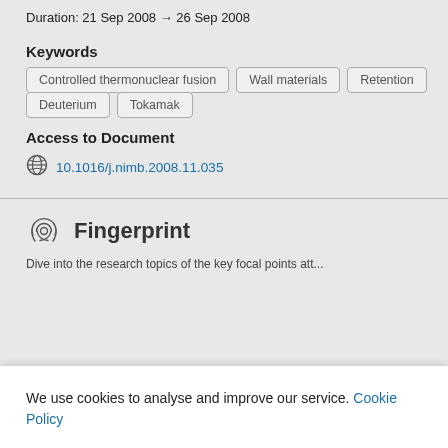Duration: 21 Sep 2008 → 26 Sep 2008
Keywords
Controlled thermonuclear fusion
Wall materials
Retention
Deuterium
Tokamak
Access to Document
10.1016/j.nimb.2008.11.035
Fingerprint
We use cookies to analyse and improve our service. Cookie Policy